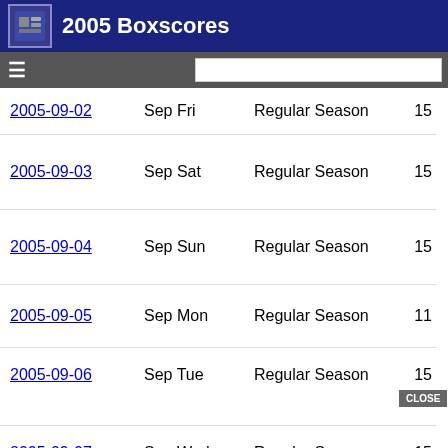2005 Boxscores
| Date | Month Day | Season | Count |
| --- | --- | --- | --- |
| 2005-09-02 | Sep Fri | Regular Season | 15 |
| 2005-09-03 | Sep Sat | Regular Season | 15 |
| 2005-09-04 | Sep Sun | Regular Season | 15 |
| 2005-09-05 | Sep Mon | Regular Season | 11 |
| 2005-09-06 | Sep Tue | Regular Season | 15 |
| 2005-09-07 | Sep Wed | Regular Season | 15 |